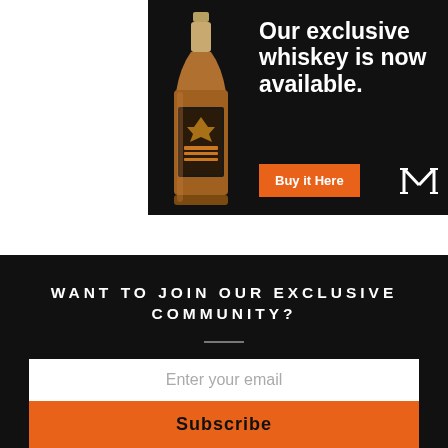[Figure (illustration): Advertisement banner with dark background. A whiskey bottle is shown on the left side. Bold white text reads 'Our exclusive whiskey is now available.' An orange 'Buy it Here' button is below the text, with a stylized 'M' logo to the right.]
WANT TO JOIN OUR EXCLUSIVE COMMUNITY?
Enter your email
Subscribe